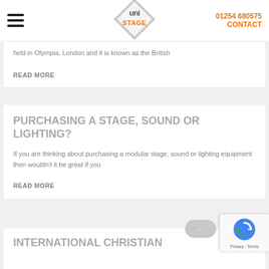01254 680575  CONTACT
[Figure (logo): Uni Stage diamond-shaped logo with text STAGE]
held in Olympia, London and it is known as the British
READ MORE
PURCHASING A STAGE, SOUND OR LIGHTING?
If you are thinking about purchasing a modular stage, sound or lighting equipment then wouldn't it be great if you
READ MORE
INTERNATIONAL CHRISTIAN